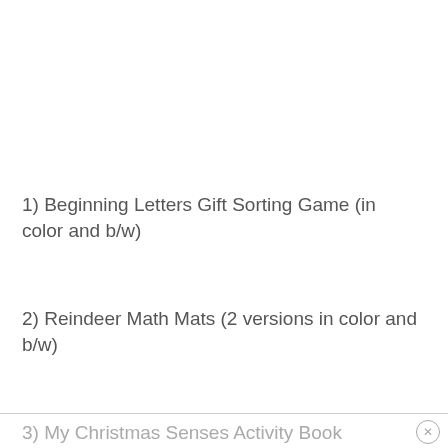1) Beginning Letters Gift Sorting Game (in color and b/w)
2) Reindeer Math Mats (2 versions in color and b/w)
3) My Christmas Senses Activity Book Making Pieces